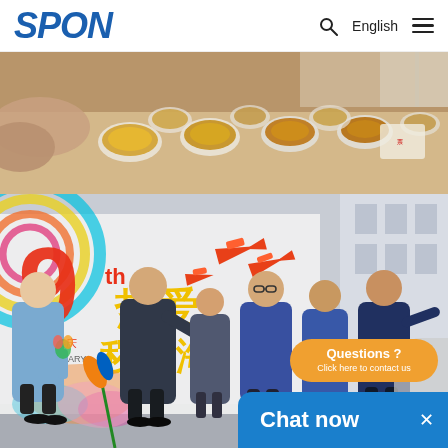SPON | English
[Figure (photo): Top photo: close-up of mooncakes or egg tarts in round tins on a table, warm orange/yellow tones]
[Figure (photo): Bottom photo: group of employees outdoors at a company anniversary event, colorful banner with Chinese text '9th 热爱秽山海 世界国年庆 ANNIVERSARY', people holding toy airplanes]
Questions ?
Click here to contact us
Chat now ×